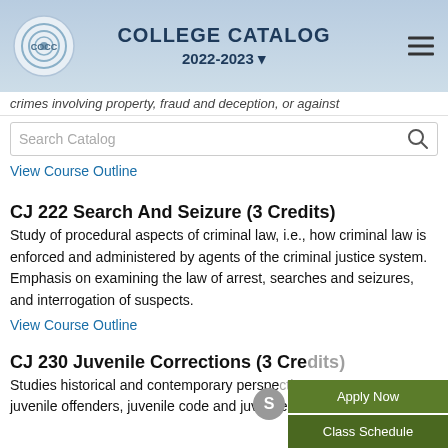COLLEGE CATALOG 2022-2023
crimes involving property, fraud and deception, or against
Search Catalog
View Course Outline
CJ 222 Search And Seizure (3 Credits)
Study of procedural aspects of criminal law, i.e., how criminal law is enforced and administered by agents of the criminal justice system. Emphasis on examining the law of arrest, searches and seizures, and interrogation of suspects.
View Course Outline
CJ 230 Juvenile Corrections (3 Credits)
Studies historical and contemporary perspectives on juvenile offenders, juvenile code and juvenile court